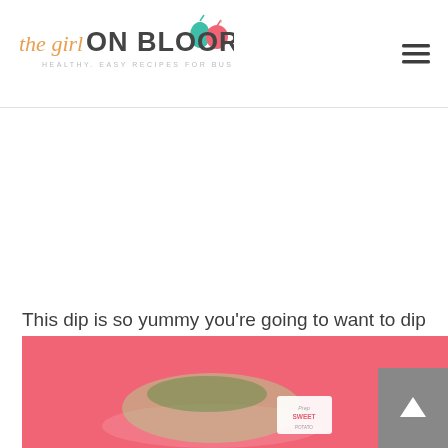[Figure (logo): The Girl on Bloor logo with cursive and bold text, pear and apple icons, tagline: HEALTHY, EASY RECIPES FOR BUSY PEOPLE!]
[Figure (other): Hamburger/menu icon with three horizontal lines]
This dip is so yummy you're going to want to dip everything in it! Some of my favourite options include:
[Figure (photo): Pink/coral background with food dish containing dip, with a small recipe card visible]